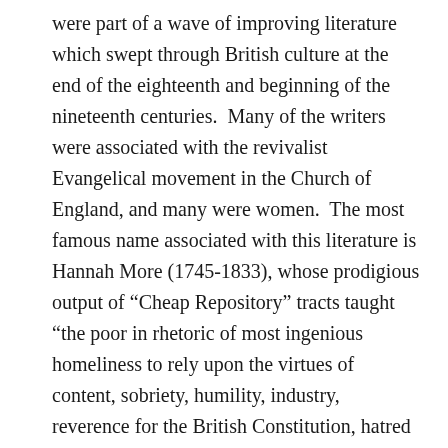were part of a wave of improving literature which swept through British culture at the end of the eighteenth and beginning of the nineteenth centuries.  Many of the writers were associated with the revivalist Evangelical movement in the Church of England, and many were women.  The most famous name associated with this literature is Hannah More (1745-1833), whose prodigious output of “Cheap Repository” tracts taught “the poor in rhetoric of most ingenious homeliness to rely upon the virtues of content, sobriety, humility, industry, reverence for the British Constitution, hatred of the French, trust in God and in the kindness of the gentry” (as the 1911 Encyclopedia Britannica put it).
Barnard’s rather smaller canon was similar in tone and,